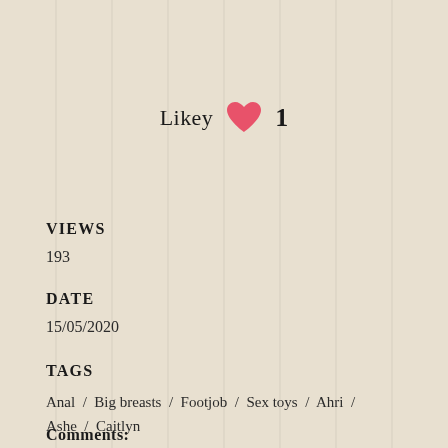Likey ♥ 1
VIEWS
193
DATE
15/05/2020
TAGS
Anal / Big breasts / Footjob / Sex toys / Ahri / Ashe / Caitlyn
Comments: